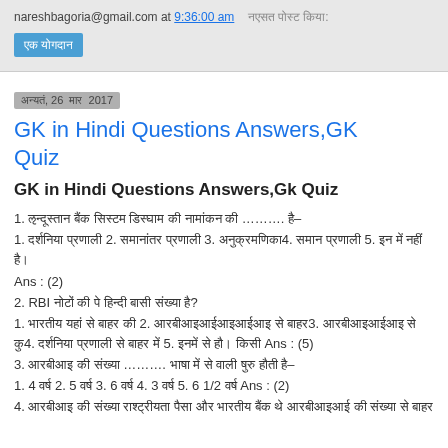nareshbagoria@gmail.com at 9:36:00 am   [Hindi text]
[Hindi button text]
[Hindi date: 26 something 2017]
GK in Hindi Questions Answers,GK Quiz
GK in Hindi Questions Answers,Gk Quiz
1. [Hindi question 1] ......... [Hindi]–
1. [Hindi option1] 2. [Hindi option2] 3. [Hindi option3]4. [Hindi option4] 5. [Hindi option5]
Ans : (2)
2. RBI [Hindi question] ?
1. [Hindi option1] 2. [Hindi option2]3. [Hindi option3] 4. [Hindi option4] 5. [Hindi option5] Ans : (5)
3. [Hindi question 3] .......... [Hindi]–
1. 4 [Hindi] 2. 5 [Hindi] 3. 6 [Hindi] 4. 3 [Hindi] 5. 6 1/2 [Hindi] Ans : (2)
4. [Hindi question 4 continues off page]